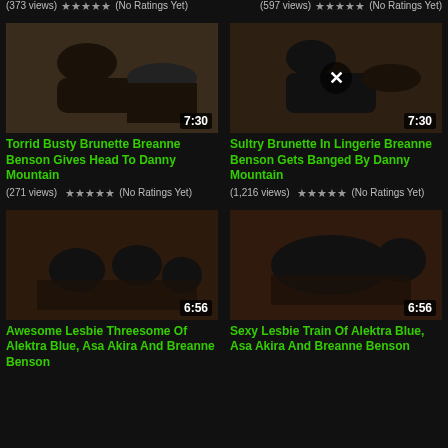(373 views) ★★★★★ (No Ratings Yet)
(597 views) ★★★★★ (No Ratings Yet)
[Figure (photo): Video thumbnail - couple scene, duration 7:30]
Torrid Busty Brunette Breanne Benson Gives Head To Danny Mountain
(271 views) ★★★★★ (No Ratings Yet)
[Figure (photo): Video thumbnail - couple in lingerie scene with X overlay, duration 7:30]
Sultry Brunette In Lingerie Breanne Benson Gets Banged By Danny Mountain
(1,216 views) ★★★★★ (No Ratings Yet)
[Figure (photo): Video thumbnail - threesome scene, duration 6:56]
Awesome Lesbie Threesome Of Alektra Blue, Asa Akira And Breanne Benson
[Figure (photo): Video thumbnail - scene with two women, duration 6:56]
Sexy Lesbie Train Of Alektra Blue, Asa Akira And Breanne Benson